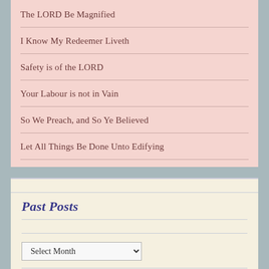The LORD Be Magnified
I Know My Redeemer Liveth
Safety is of the LORD
Your Labour is not in Vain
So We Preach, and So Ye Believed
Let All Things Be Done Unto Edifying
Past Posts
Select Month